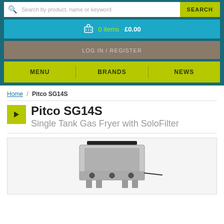Search by product, name or keyword | SEARCH
0 items · £0.00
LOG IN / REGISTER
MENU | BRANDS | NEWS
Home / Pitco SG14S
Pitco SG14S
Single Tank Gas Fryer with SoloFilter
[Figure (photo): Pitco SG14S single tank gas fryer with SoloFilter, stainless steel, front view showing controls and tank]